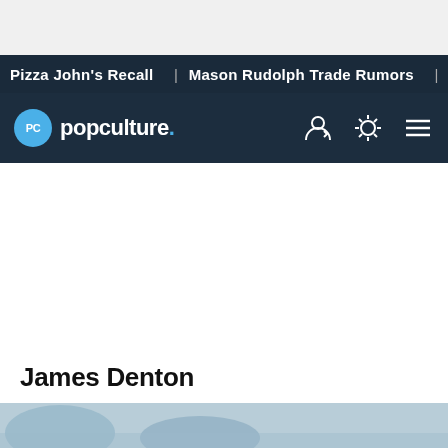Pizza John's Recall | Mason Rudolph Trade Rumors | Nikki A
[Figure (logo): PopCulture.com logo with blue circular PC icon and white text 'popculture.' with blue period, plus navigation icons (user, theme toggle, menu)]
James Denton
[Figure (photo): Partial bottom image strip showing illustrated or photo content related to James Denton article]